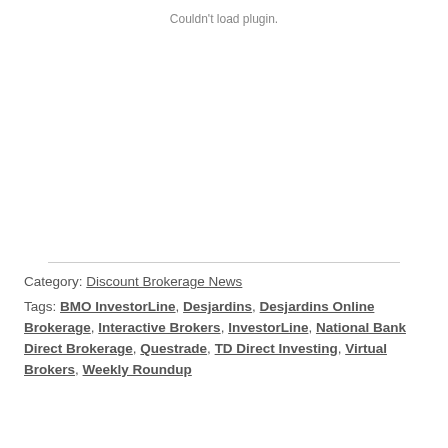Couldn't load plugin.
Category: Discount Brokerage News
Tags: BMO InvestorLine, Desjardins, Desjardins Online Brokerage, Interactive Brokers, InvestorLine, National Bank Direct Brokerage, Questrade, TD Direct Investing, Virtual Brokers, Weekly Roundup